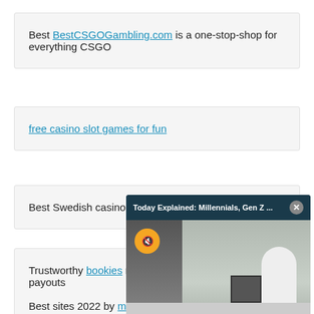Best BestCSGOGambling.com is a one-stop-shop for everything CSGO
free casino slot games for fun
Best Swedish casinos with no deposit bonus
[Figure (screenshot): Video popup overlay with title 'Today Explained: Millennials, Gen Z ...' showing a mute button and an office scene with a person at a desk]
Trustworthy bookies no... payouts
Best sites 2022 by mob... newonline-casinos.co.u...